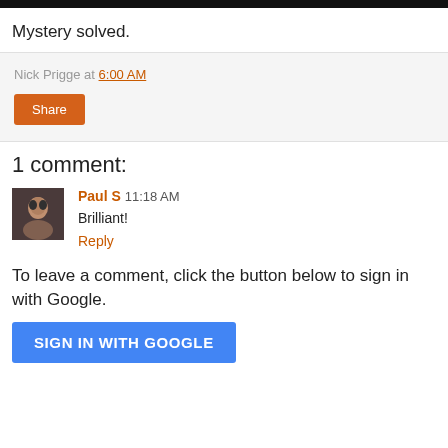[Figure (photo): Black bar at top of page]
Mystery solved.
Nick Prigge at 6:00 AM
Share
1 comment:
[Figure (photo): Avatar photo of Paul S, a person's face with dark hair]
Paul S 11:18 AM
Brilliant!
Reply
To leave a comment, click the button below to sign in with Google.
SIGN IN WITH GOOGLE